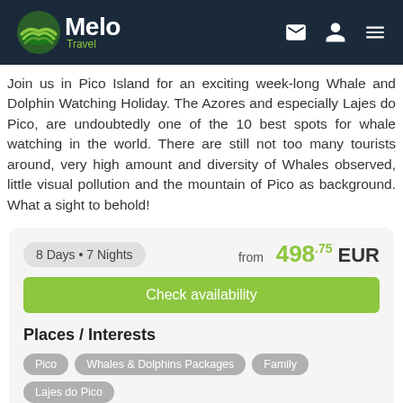Melo Travel
Join us in Pico Island for an exciting week-long Whale and Dolphin Watching Holiday. The Azores and especially Lajes do Pico, are undoubtedly one of the 10 best spots for whale watching in the world. There are still not too many tourists around, very high amount and diversity of Whales observed, little visual pollution and the mountain of Pico as background. What a sight to behold!
8 Days • 7 Nights  from  498.75 EUR
Check availability
Places / Interests
Pico
Whales & Dolphins Packages
Family
Lajes do Pico